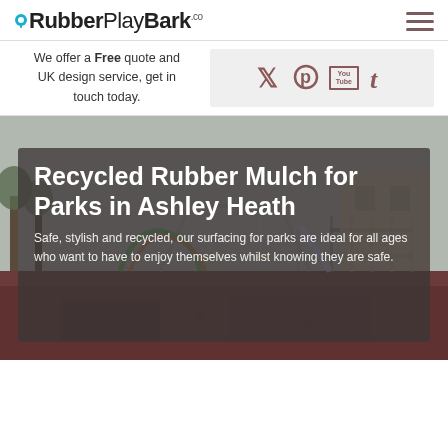RubberPlayBark.co
We offer a Free quote and UK design service, get in touch today.
[Figure (infographic): Social media icons: Twitter, Pinterest, YouTube, Tumblr on light grey background]
[Figure (photo): Playground park with rubber mulch surface, play equipment and fencing in background]
Recycled Rubber Mulch for Parks in Ashley Heath
Safe, stylish and recycled, our surfacing for parks are ideal for all ages who want to have to enjoy themselves whilst knowing they are safe.